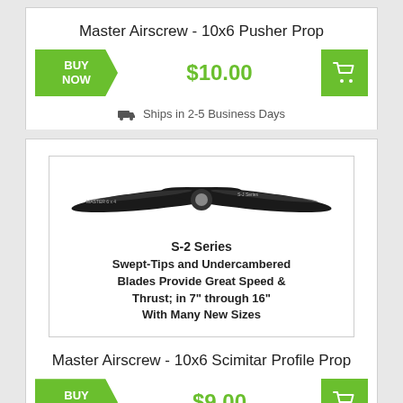Master Airscrew - 10x6 Pusher Prop
BUY NOW  $10.00  [cart icon]
Ships in 2-5 Business Days
[Figure (photo): Black two-blade propeller with S-2 Series swept-tip design, viewed from above. Text overlay: S-2 Series Swept-Tips and Undercambered Blades Provide Great Speed & Thrust; in 7" through 16" With Many New Sizes]
Master Airscrew - 10x6 Scimitar Profile Prop
BUY NOW  $9.00  [cart icon]